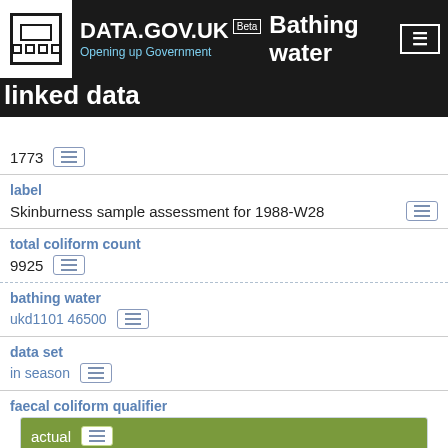DATA.GOV.UK Beta — Bathing water linked data
1773
label
Skinburness sample assessment for 1988-W28
total coliform count
9925
bathing water
ukd1101 46500
data set
in season
faecal coliform qualifier
actual
http://environment.data.gov.uk/def/bathing-water-quality/actual
sample date time